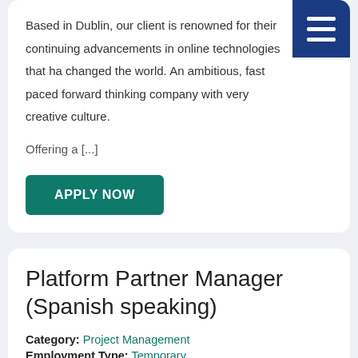Based in Dublin, our client is renowned for their continuing advancements in online technologies that ha changed the world. An ambitious, fast paced forward thinking company with very creative culture.
Offering a [...]
APPLY NOW
Platform Partner Manager (Spanish speaking)
Category: Project Management
Employment Type: Temporary
Job General Location: Dublin, Dublin, Ireland